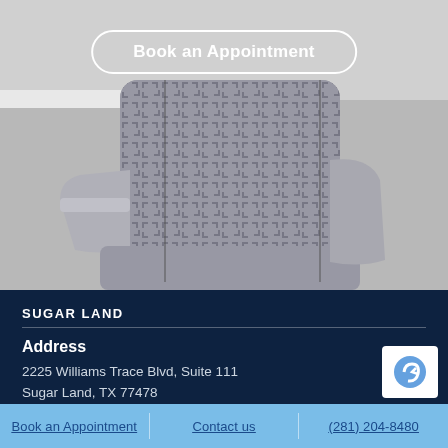[Figure (photo): Photo of a grey patterned upholstered chair with Greek key fabric pattern, light grey/blue background]
Book an Appointment
SUGAR LAND
Address
2225 Williams Trace Blvd, Suite 111
Sugar Land, TX 77478
Book an Appointment | Contact us | (281) 204-8480